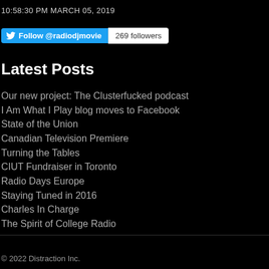10:58:30 PM MARCH 05, 2019
[Figure (other): Twitter Follow @radiodjmovie button with 269 followers count]
Latest Posts
Our new project: The Clusterfucked podcast
I Am What I Play blog moves to Facebook
State of the Union
Canadian Television Premiere
Turning the Tables
CIUT Fundraiser in Toronto
Radio Days Europe
Staying Tuned in 2016
Charles In Charge
The Spirit of College Radio
© 2022 Distraction Inc.